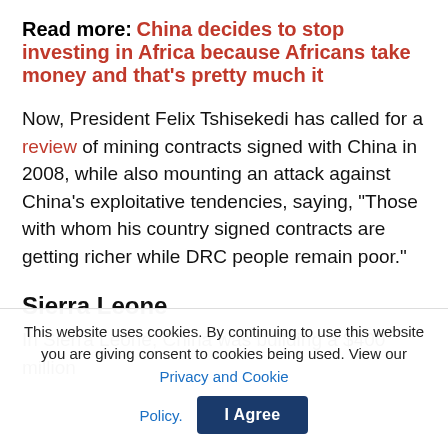Read more: China decides to stop investing in Africa because Africans take money and that's pretty much it
Now, President Felix Tshisekedi has called for a review of mining contracts signed with China in 2008, while also mounting an attack against China's exploitative tendencies, saying, “Those with whom his country signed contracts are getting richer while DRC people remain poor.”
Sierra Leone
In Sierra Leone, China was building a $400 million
This website uses cookies. By continuing to use this website you are giving consent to cookies being used. View our Privacy and Cookie Policy.